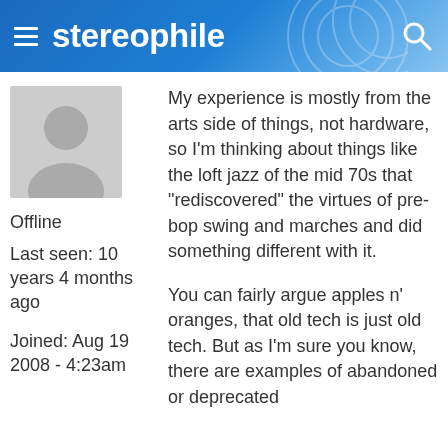stereophile
[Figure (illustration): Default user avatar silhouette placeholder image]
Offline
Last seen: 10 years 4 months ago
Joined: Aug 19 2008 - 4:23am
My experience is mostly from the arts side of things, not hardware, so I'm thinking about things like the loft jazz of the mid 70s that "rediscovered" the virtues of pre-bop swing and marches and did something different with it.
You can fairly argue apples n' oranges, that old tech is just old tech. But as I'm sure you know, there are examples of abandoned or deprecated